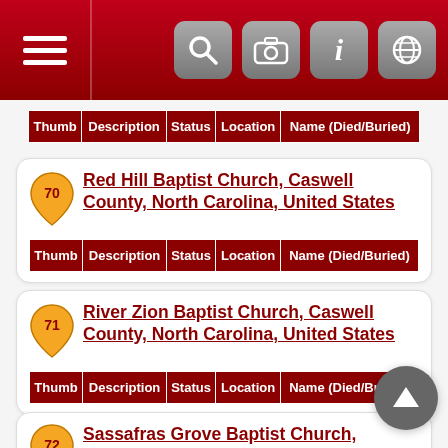Navigation bar with hamburger menu and icons
| Thumb | Description | Status | Location | Name (Died/Buried) |
| --- | --- | --- | --- | --- |
Red Hill Baptist Church, Caswell County, North Carolina, United States
| Thumb | Description | Status | Location | Name (Died/Buried) |
| --- | --- | --- | --- | --- |
River Zion Baptist Church, Caswell County, North Carolina, United States
| Thumb | Description | Status | Location | Name (Died/Buried) |
| --- | --- | --- | --- | --- |
Sassafras Grove Baptist Church, Caswell County, North Carolina, United States